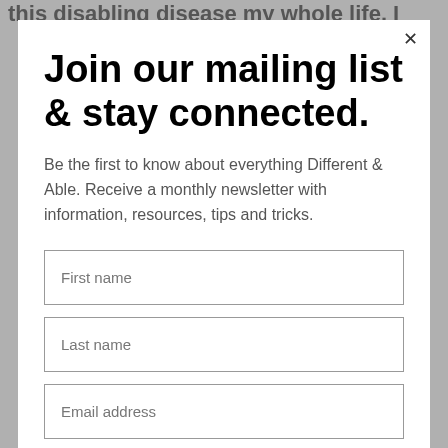this disabling disease my whole life. I
Join our mailing list & stay connected.
Be the first to know about everything Different & Able. Receive a monthly newsletter with information, resources, tips and tricks.
First name
Last name
Email address